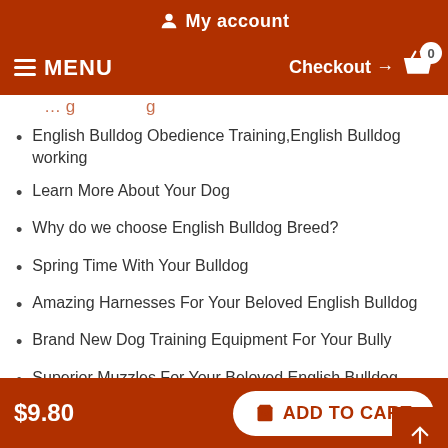My account
MENU  Checkout → 0
English Bulldog Obedience Training,English Bulldog working
Learn More About Your Dog
Why do we choose English Bulldog Breed?
Spring Time With Your Bulldog
Amazing Harnesses For Your Beloved English Bulldog
Brand New Dog Training Equipment For Your Bully
Superior Muzzles For Your Beloved English Bulldog
Excellent Collars For Your Beloved English Bulldog
Create A Link Between You And Your English Bulldog!
$9.80  ADD TO CART